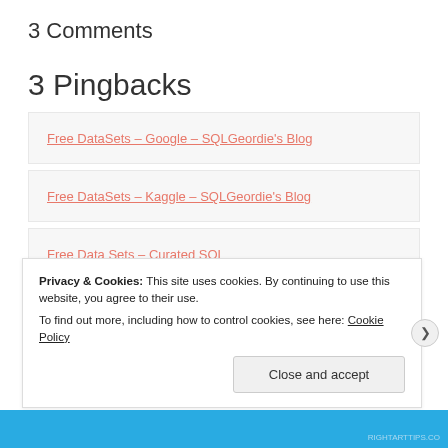3 Comments
3 Pingbacks
Free DataSets – Google – SQLGeordie's Blog
Free DataSets – Kaggle – SQLGeordie's Blog
Free Data Sets – Curated SQL
Leave a Reply
Privacy & Cookies: This site uses cookies. By continuing to use this website, you agree to their use. To find out more, including how to control cookies, see here: Cookie Policy
Close and accept